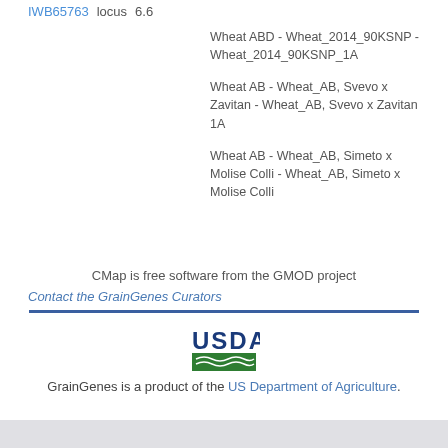IWB65763   locus   6.6
Wheat ABD - Wheat_2014_90KSNP - Wheat_2014_90KSNP_1A
Wheat AB - Wheat_AB, Svevo x Zavitan - Wheat_AB, Svevo x Zavitan 1A
Wheat AB - Wheat_AB, Simeto x Molise Colli - Wheat_AB, Simeto x Molise Colli
CMap is free software from the GMOD project
Contact the GrainGenes Curators
[Figure (logo): USDA logo with green bar graphic]
GrainGenes is a product of the US Department of Agriculture.